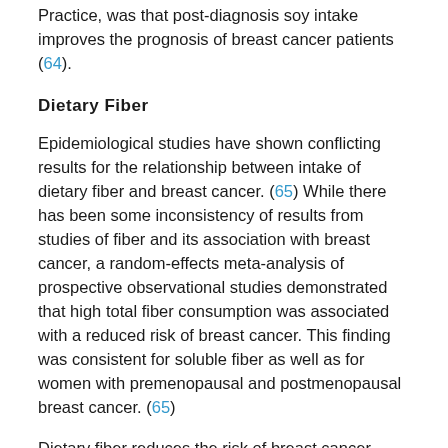Practice, was that post-diagnosis soy intake improves the prognosis of breast cancer patients (64).
Dietary Fiber
Epidemiological studies have shown conflicting results for the relationship between intake of dietary fiber and breast cancer. (65) While there has been some inconsistency of results from studies of fiber and its association with breast cancer, a random-effects meta-analysis of prospective observational studies demonstrated that high total fiber consumption was associated with a reduced risk of breast cancer. This finding was consistent for soluble fiber as well as for women with premenopausal and postmenopausal breast cancer. (65)
Dietary fiber reduces the risk of breast cancer, most likely by decreasing the level of estrogen in the blood circulation. (66, 67, 68, 69, 70, 71, 72, 73)  Results of the most recent meta-analysis published in 2012, which included 17 publications, supported this hypothesis (74). An increase in consumption of